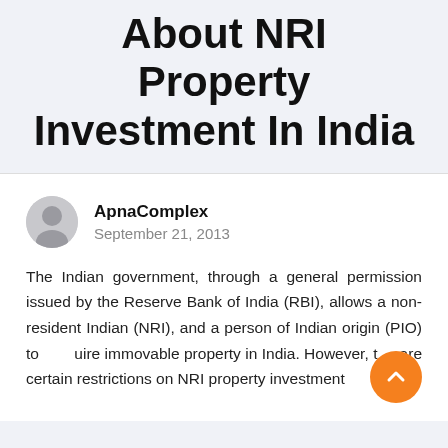About NRI Property Investment In India
ApnaComplex
September 21, 2013
The Indian government, through a general permission issued by the Reserve Bank of India (RBI), allows a non-resident Indian (NRI), and a person of Indian origin (PIO) to acquire immovable property in India. However, there are certain restrictions on NRI property investment